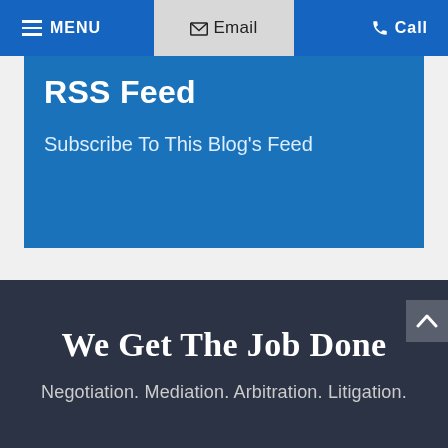MENU  Email  Call
RSS Feed
Subscribe To This Blog's Feed
We Get The Job Done
Negotiation. Mediation. Arbitration. Litigation.